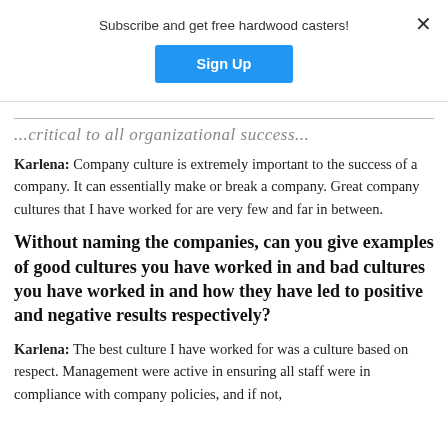Subscribe and get free hardwood casters!
[Figure (other): Blue 'Sign Up' button for subscription]
...critical to all organizational success...
Karlena: Company culture is extremely important to the success of a company. It can essentially make or break a company. Great company cultures that I have worked for are very few and far in between.
Without naming the companies, can you give examples of good cultures you have worked in and bad cultures you have worked in and how they have led to positive and negative results respectively?
Karlena: The best culture I have worked for was a culture based on respect. Management were active in ensuring all staff were in compliance with company policies, and if not,